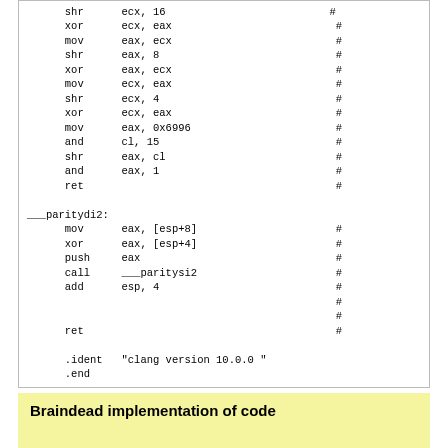shr ecx, 16
xor ecx, eax
mov eax, ecx
shr eax, 8
xor eax, ecx
mov ecx, eax
shr ecx, 4
xor ecx, eax
mov eax, 0x6996
and cl, 15
shr eax, cl
and eax, 1
ret

___paritydi2:
    mov eax, [esp+8]
    xor eax, [esp+4]
    push eax
    call ___paritysi2
    add esp, 4


    ret

    .ident "clang version 10.0.0 "
    .end
Braindead implementation of code